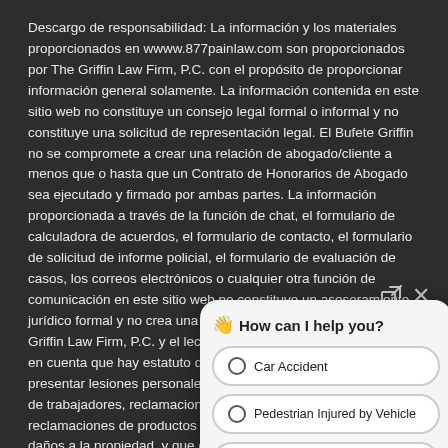Descargo de responsabilidad: La información y los materiales proporcionados en www.877painlaw.com son proporcionados por The Griffin Law Firm, P.C. con el propósito de proporcionar información general solamente. La información contenida en este sitio web no constituye un consejo legal formal o informal y no constituye una solicitud de representación legal. El Bufete Griffin no se compromete a crear una relación de abogado/cliente a menos que o hasta que un Contrato de Honorarios de Abogado sea ejecutado y firmado por ambas partes. La información proporcionada a través de la función de chat, el formulario de calculadora de acuerdos, el formulario de contacto, el formulario de solicitud de informe policial, el formulario de evaluación de casos, los correos electrónicos o cualquier otra función de comunicación en este sitio web no constituye un asesoramiento jurídico formal y no crea una relación abogado-cliente entre Griffin Law Firm, P.C. y el lector o el destinatario. Por favor, tenga en cuenta que hay estatuto de limitaciones y otros plazos para presentar lesiones personales, reclamaciones de compensación de trabajadores, reclamaciones de muerte por negligencia, reclamaciones de productos defectuosos, reclamaciones de daños a la propiedad, y que estos pueden impedir su recuperación si se vencen. Por lo tanto, es sumamente importante que cualquier persona con una reclamación tenga que consultar con un abogado mediante la celebración de un contrato de honorarios de abogado lo como sea posible para proteger sus derechos y la capacidad de recuperación de su reclamo.
[Figure (screenshot): Chat widget overlay with title 'How can I help you?' and radio button options: Car Accident, Pedestrian Injured by Vehicle, Slip And Fall, with a Scroll button and partially visible Truck Accident option]